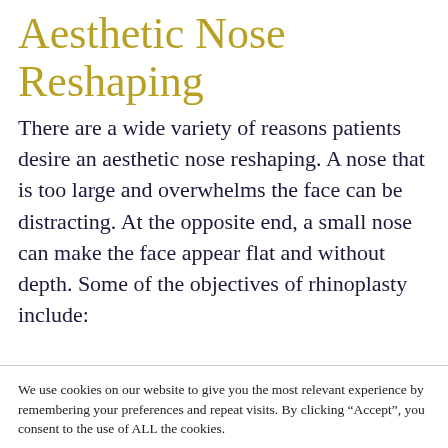Aesthetic Nose Reshaping
There are a wide variety of reasons patients desire an aesthetic nose reshaping. A nose that is too large and overwhelms the face can be distracting. At the opposite end, a small nose can make the face appear flat and without depth. Some of the objectives of rhinoplasty include:
We use cookies on our website to give you the most relevant experience by remembering your preferences and repeat visits. By clicking “Accept”, you consent to the use of ALL the cookies.
Do not sell my personal information.